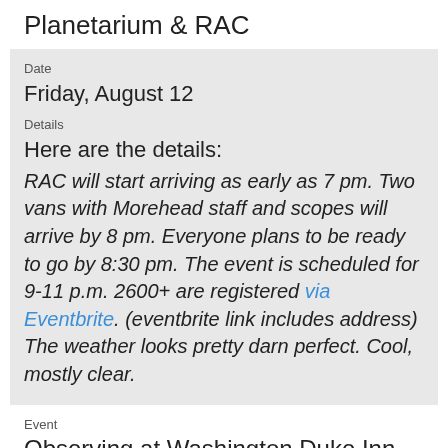Planetarium & RAC
Date
Friday, August 12
Details
Here are the details:
RAC will start arriving as early as 7 pm. Two vans with Morehead staff and scopes will arrive by 8 pm. Everyone plans to be ready to go by 8:30 pm. The event is scheduled for 9-11 p.m. 2600+ are registered via Eventbrite. (eventbrite link includes address) The weather looks pretty darn perfect. Cool, mostly clear.
Event
Observing at Washington Duke Inn, Durham, NC